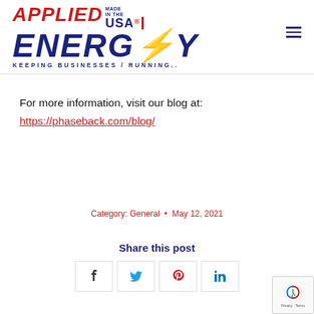[Figure (logo): Applied Energy logo with 'Made in the USA' badge, tagline 'KEEPING BUSINESSES RUNNING..' and hamburger menu icon]
For more information, visit our blog at:
https://phaseback.com/blog/
Category: General  •  May 12, 2021
Share this post
f  t  p  in (social share buttons)